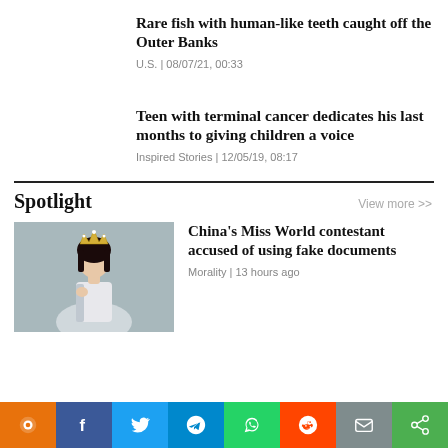Rare fish with human-like teeth caught off the Outer Banks
U.S. | 08/07/21, 00:33
Teen with terminal cancer dedicates his last months to giving children a voice
Inspired Stories | 12/05/19, 08:17
Spotlight
View more >>
[Figure (photo): Woman wearing crown and sash (Miss World contestant)]
China's Miss World contestant accused of using fake documents
Morality | 13 hours ago